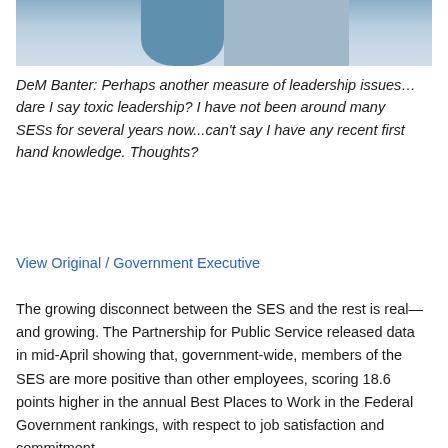[Figure (photo): Photo of two people in business attire, one holding a coffee mug, shown from mid-chest down]
DeM Banter: Perhaps another measure of leadership issues…dare I say toxic leadership? I have not been around many SESs for several years now...can't say I have any recent first hand knowledge. Thoughts?
View Original / Government Executive
The growing disconnect between the SES and the rest is real—and growing. The Partnership for Public Service released data in mid-April showing that, government-wide, members of the SES are more positive than other employees, scoring 18.6 points higher in the annual Best Places to Work in the Federal Government rankings, with respect to job satisfaction and commitment.